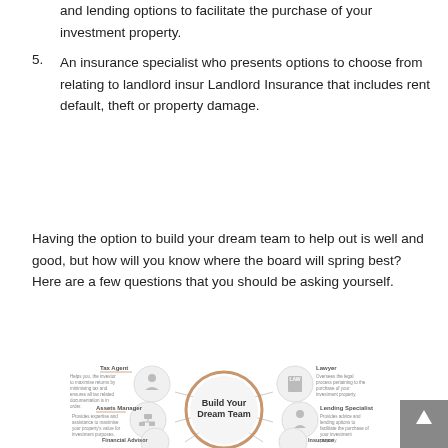and lending options to facilitate the purchase of your investment property.
5. An insurance specialist who presents options to choose from relating to landlord insur Landlord Insurance that includes rent default, theft or property damage.
Having the option to build your dream team to help out is well and good, but how will you know where the board will spring best? Here are a few questions that you should be asking yourself.
[Figure (infographic): Dream team infographic showing circular hub labeled 'Build Your Dream Team' connected to: Tax Agent, Assets Manager, Financial Advisor, Lawyer, Lending Specialist, Insurance nodes with descriptions.]